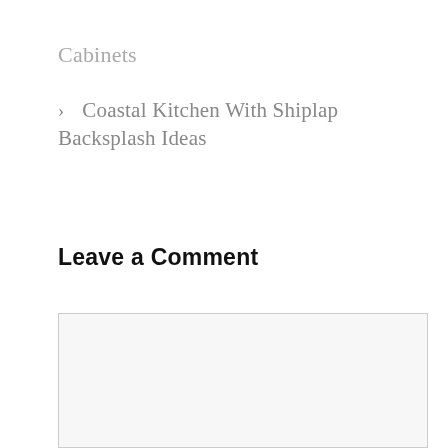Cabinets
> Coastal Kitchen With Shiplap Backsplash Ideas
Leave a Comment